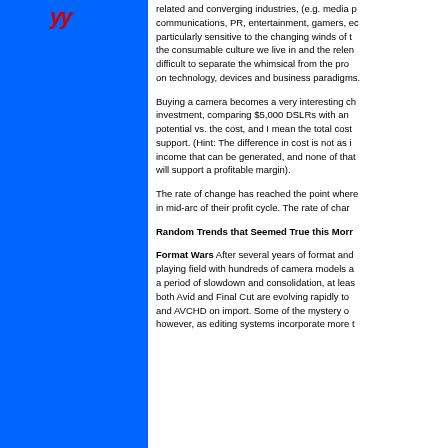[Figure (illustration): Blue sidebar with red stylized text mark in upper left corner]
related and converging industries, (e.g. media p... communications, PR, entertainment, gamers, ec... particularly sensitive to the changing winds of t... the consumable culture we live in and the relen... difficult to separate the whimsical from the pro... on technology, devices and business paradigms.
Buying a camera becomes a very interesting ch... investment, comparing $5,000 DSLRs with an... potential vs. the cost, and I mean the total cost... support. (Hint: The difference in cost is not as i... income that can be generated, and none of that... will support a profitable margin).
The rate of change has reached the point where... in mid-arc of their profit cycle. The rate of char...
Random Trends that Seemed True this Morr...
Format Wars After several years of format and... playing field with hundreds of camera models a... a period of slowdown and consolidation, at leas... both Avid and Final Cut are evolving rapidly to... and AVCHD on import. Some of the mystery o... however, as editing systems incorporate more t...